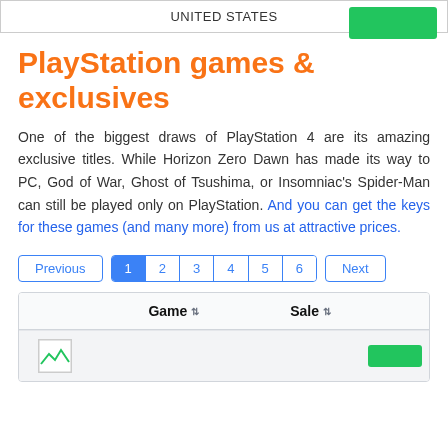UNITED STATES
PlayStation games & exclusives
One of the biggest draws of PlayStation 4 are its amazing exclusive titles. While Horizon Zero Dawn has made its way to PC, God of War, Ghost of Tsushima, or Insomniac's Spider-Man can still be played only on PlayStation. And you can get the keys for these games (and many more) from us at attractive prices.
Previous | 1 | 2 | 3 | 4 | 5 | 6 | Next
|  | Game | Sale |  |
| --- | --- | --- | --- |
| [image] |  |  |  |